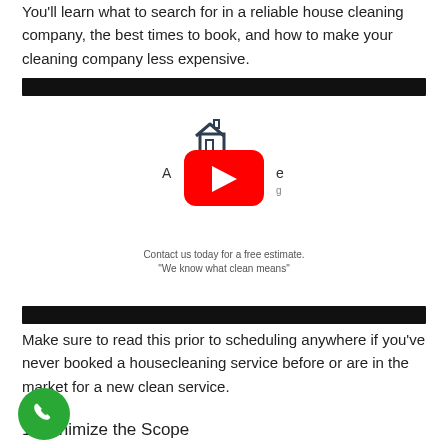You'll learn what to search for in a reliable house cleaning company, the best times to book, and how to make your cleaning company less expensive.
[Figure (screenshot): YouTube video thumbnail for a house cleaning service company. Shows a partial logo with a house icon and partial text. A red YouTube play button overlay is centered. Below reads: 'Contact us today for a free estimate. "We know what clean means"']
Make sure to read this prior to scheduling anywhere if you've never booked a housecleaning service before or are in the market for a new clean service.
1. Minimize the Scope